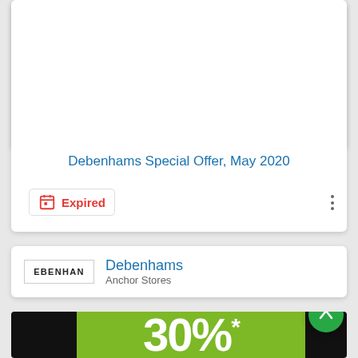[Figure (photo): Product photo of three perfume bottles: a pink/rose bottle (La Vie est Belle by Lancôme), a red/orange bottle (Giorgio Armani Sì), and a black glitter bottle (Yves Saint Laurent Black Opium), displayed on a light background.]
Debenhams Special Offer, May 2020
Expired
DEBENHAMS
Debenhams
Anchor Stores
[Figure (photo): Promotional banner showing '30%*' in large white text on a green background, flanked by black side panels. A green circular button with an upward arrow (scroll-to-top) is visible on the right.]